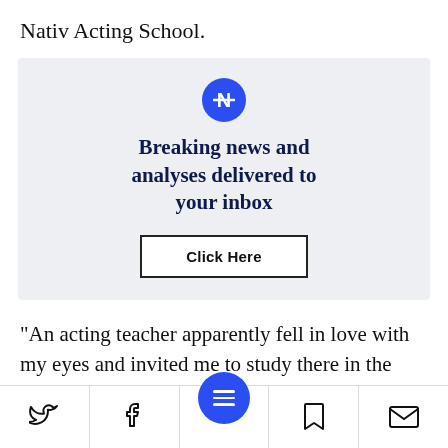Nativ Acting School.
[Figure (infographic): Newsletter signup box with blue circular logo, headline 'Breaking news and analyses delivered to your inbox', and a 'Click Here' button]
"An acting teacher apparently fell in love with my eyes and invited me to study there in the preparatory program," she explains. "The high
Social share bar with Twitter, Facebook, menu, bookmark, and email icons